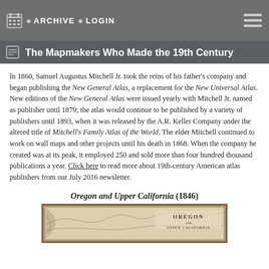ARCHIVE · LOGIN
The Mapmakers Who Made the 19th Century
In 1860, Samuel Augustus Mitchell Jr. took the reins of his father's company and began publishing the New General Atlas, a replacement for the New Universal Atlas. New editions of the New General Atlas were issued yearly with Mitchell Jr. named as publisher until 1879; the atlas would continue to be published by a variety of publishers until 1893, when it was released by the A.R. Keller Company under the altered title of Mitchell's Family Atlas of the World. The elder Mitchell continued to work on wall maps and other projects until his death in 1868. When the company he created was at its peak, it employed 250 and sold more than four hundred thousand publications a year. Click here to read more about 19th-century American atlas publishers from our July 2016 newsletter.
Oregon and Upper California (1846)
[Figure (photo): Partial view of an antique map titled 'Oregon and Upper California' from 1846, showing Oregon territory with decorative border.]